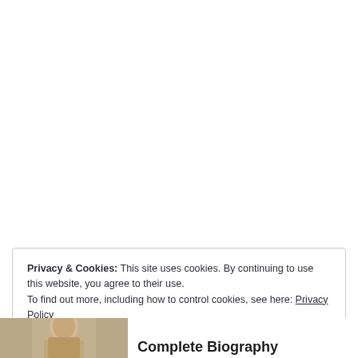Privacy & Cookies: This site uses cookies. By continuing to use this website, you agree to their use.
To find out more, including how to control cookies, see here: Privacy Policy
Close and accept
[Figure (photo): Partial view of a historical black-and-white portrait photograph at bottom-left corner]
Complete Biography